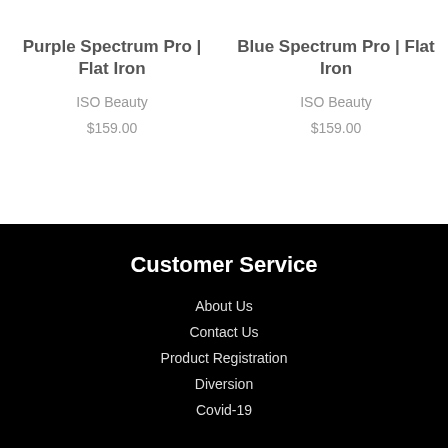Purple Spectrum Pro | Flat Iron
ISO Beauty
$159.00
Blue Spectrum Pro | Flat Iron
ISO Beauty
$159.00
Customer Service
About Us
Contact Us
Product Registration
Diversion
Covid-19